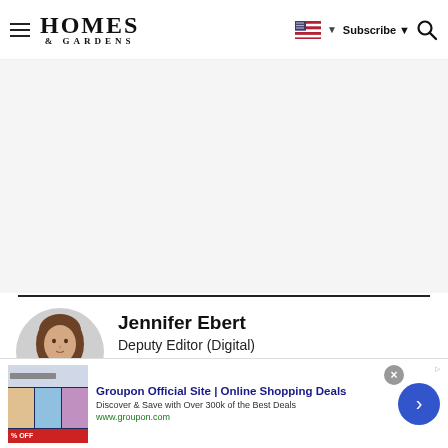HOMES & GARDENS — Subscribe — Search
[Figure (screenshot): Homes & Gardens website header with hamburger menu, logo, flag/language selector, Subscribe button, and search icon]
Jennifer Ebert
Deputy Editor (Digital)
[Figure (photo): Author photo of Jennifer Ebert, a woman with brown hair, circular crop]
[Figure (other): Groupon advertisement banner: Groupon Official Site | Online Shopping Deals. Discover & Save with Over 300k of the Best Deals. www.groupon.com]